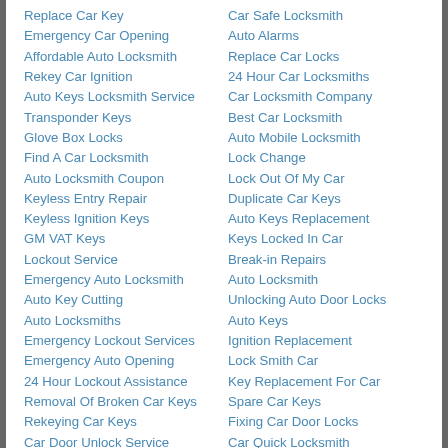Replace Car Key
Emergency Car Opening
Affordable Auto Locksmith
Rekey Car Ignition
Auto Keys Locksmith Service
Transponder Keys
Glove Box Locks
Find A Car Locksmith
Auto Locksmith Coupon
Keyless Entry Repair
Keyless Ignition Keys
GM VAT Keys
Lockout Service
Emergency Auto Locksmith
Auto Key Cutting
Auto Locksmiths
Emergency Lockout Services
Emergency Auto Opening
24 Hour Lockout Assistance
Removal Of Broken Car Keys
Rekeying Car Keys
Car Door Unlock Service
Trunk Opening
Transponder Chip Key
Car Safe Locksmith
Auto Alarms
Replace Car Locks
24 Hour Car Locksmiths
Car Locksmith Company
Best Car Locksmith
Auto Mobile Locksmith
Lock Change
Lock Out Of My Car
Duplicate Car Keys
Auto Keys Replacement
Keys Locked In Car
Break-in Repairs
Auto Locksmith
Unlocking Auto Door Locks
Auto Keys
Ignition Replacement
Lock Smith Car
Key Replacement For Car
Spare Car Keys
Fixing Car Door Locks
Car Quick Locksmith
Car Lockout
Car Ignition Locksmith